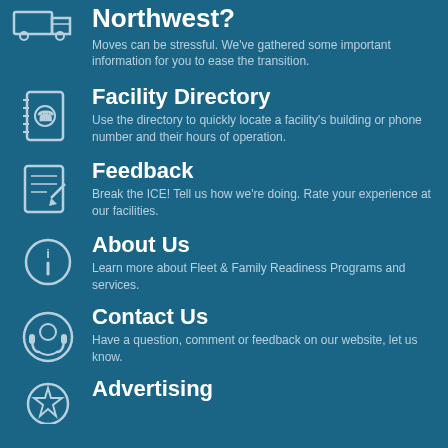Relocating to the Pacific Northwest?
Moves can be stressful. We've gathered some important information for you to ease the transition.
[Figure (illustration): Phone book / directory icon]
Facility Directory
Use the directory to quickly locate a facility's building or phone number and their hours of operation.
[Figure (illustration): Notepad with pencil icon]
Feedback
Break the ICE! Tell us how we're doing. Rate your experience at our facilities.
[Figure (illustration): Information circle icon]
About Us
Learn more about Fleet & Family Readiness Programs and services.
[Figure (illustration): Headset / contact icon]
Contact Us
Have a question, comment or feedback on our website, let us know.
[Figure (illustration): Star badge icon]
Advertising